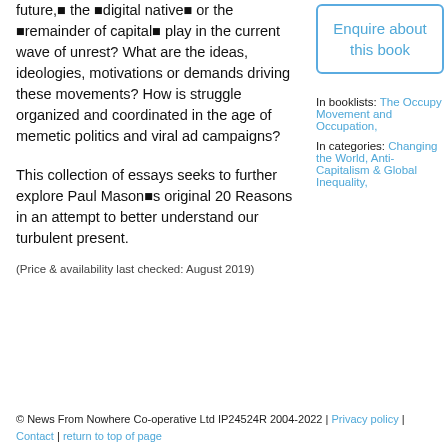future,□ the □digital native□ or the □remainder of capital□ play in the current wave of unrest? What are the ideas, ideologies, motivations or demands driving these movements? How is struggle organized and coordinated in the age of memetic politics and viral ad campaigns?
Enquire about this book
In booklists: The Occupy Movement and Occupation,
In categories: Changing the World, Anti-Capitalism & Global Inequality,
This collection of essays seeks to further explore Paul Mason□s original 20 Reasons in an attempt to better understand our turbulent present.
(Price & availability last checked: August 2019)
© News From Nowhere Co-operative Ltd IP24524R 2004-2022 | Privacy policy | Contact | return to top of page